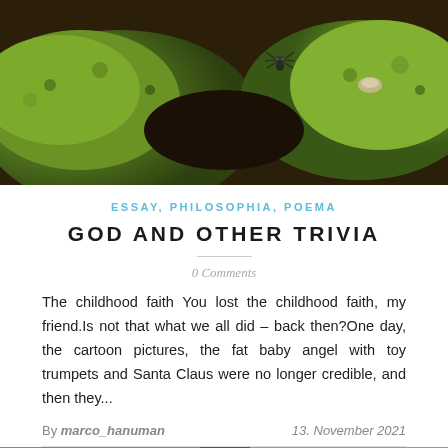[Figure (photo): Close-up photograph of green moss-covered rocks with dark soil, showing a spider or insect on the mossy surface]
ESSAY, PHILOSOPHIA, POEMA
GOD AND OTHER TRIVIA
0 Comments
The childhood faith You lost the childhood faith, my friend.Is not that what we all did – back then?One day, the cartoon pictures, the fat baby angel with toy trumpets and Santa Claus were no longer credible, and then they...
By marco_hanuman	13. November 2021
[Figure (photo): Partial view of another image at the bottom of the page, showing a dark bird or animal shape against a light green background]